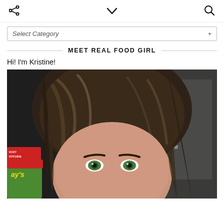share | chevron-down | search
Select Category
MEET REAL FOOD GIRL
Hi! I'm Kristine!
[Figure (photo): Selfie of a woman with brown hair and green eyes, taken in a kitchen area. Visible in background: dark refrigerator, white door. In foreground: Lay's chips bag, KOZY KITCHEN box.]